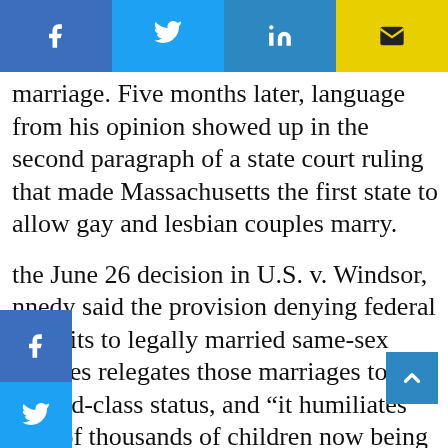[Figure (other): Social share button bar at top with Facebook (blue), Twitter (light blue), LinkedIn (blue), Email (yellow) buttons]
marriage. Five months later, language from his opinion showed up in the second paragraph of a state court ruling that made Massachusetts the first state to allow gay and lesbian couples marry.
[Figure (other): Side social share buttons: Facebook, Twitter, LinkedIn]
the June 26 decision in U.S. v. Windsor, nnedy said the provision denying federal benefits to legally married same-sex couples relegates those marriages to second-class status, and “it humiliates tens of thousands of children now being raised by same-sex couples.”
[Figure (other): Back to top arrow button (blue square with up chevron)]